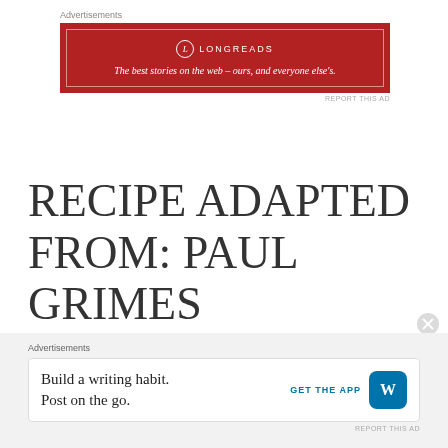Advertisements
[Figure (illustration): Longreads advertisement banner — red background with white border, logo circle with 'L', text: 'LONGREADS — The best stories on the web – ours, and everyone else's.']
REPORT THIS AD
RECIPE ADAPTED FROM: PAUL GRIMES PHOTOGRAPHY & STAGING: PETER MENDOROS
Advertisements
[Figure (illustration): WordPress advertisement banner — white background, text: 'Build a writing habit. Post on the go.' with 'GET THE APP' button and WordPress logo.]
REPORT THIS AD